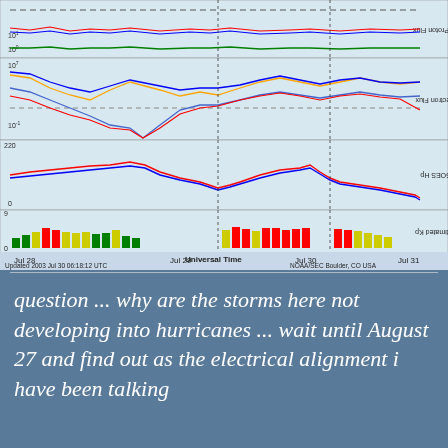[Figure (continuous-plot): NOAA/SEC space weather plot showing (top to bottom): Proton Flux, Electron Flux, GOES Hp magnetic field, and Estimated Kp index bar chart from Jul 28 to Jul 31, 2003. Updated 2003 Jul 30 06:18:12 UTC. NOAA/SEC Boulder, CO USA.]
question ... why are the storms here not developing into hurricanes ... wait until August 27 and find out as the electrical alignment i have been talking